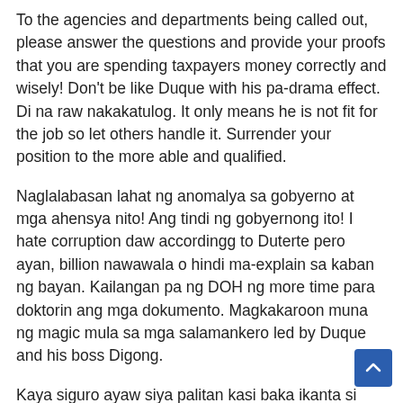To the agencies and departments being called out, please answer the questions and provide your proofs that you are spending taxpayers money correctly and wisely! Don't be like Duque with his pa-drama effect. Di na raw nakakatulog. It only means he is not fit for the job so let others handle it. Surrender your position to the more able and qualified.
Naglalabasan lahat ng anomalya sa gobyerno at mga ahensya nito! Ang tindi ng gobyernong ito! I hate corruption daw accordingg to Duterte pero ayan, billion nawawala o hindi ma-explain sa kaban ng bayan. Kailangan pa ng DOH ng more time para doktorin ang mga dokumento. Magkakaroon muna ng magic mula sa mga salamankero led by Duque and his boss Digong.
Kaya siguro ayaw siya palitan kasi baka ikanta si Mayor at mabisto ang itinatagong bilyon na gagamitin siguro sa eleksyon na mas marami pa dito.